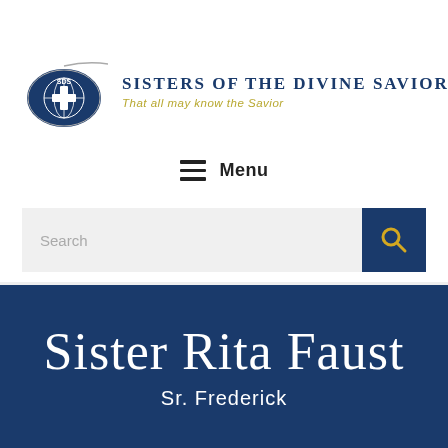[Figure (logo): Sisters of the Divine Savior organization logo: globe with cross and SDS letters inside an oval, with a curved line extending to the right]
SISTERS OF THE DIVINE SAVIOR
That all may know the Savior
Menu
Search
Sister Rita Faust
Sr. Frederick